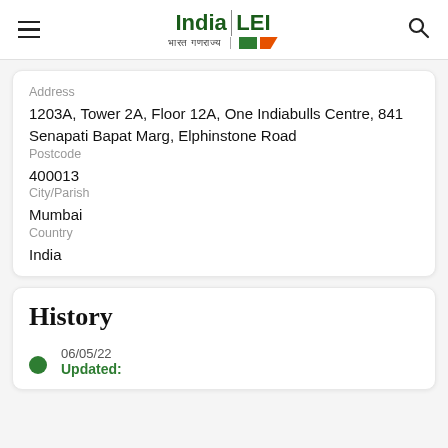India LEI — भारत गणराज्य
Address
1203A, Tower 2A, Floor 12A, One Indiabulls Centre, 841 Senapati Bapat Marg, Elphinstone Road
Postcode
400013
City/Parish
Mumbai
Country
India
History
06/05/22
Updated: